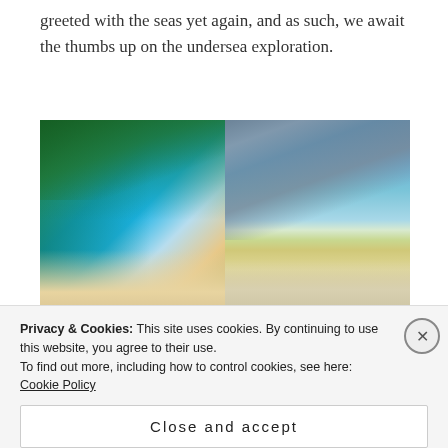greeted with the seas yet again, and as such, we await the thumbs up on the undersea exploration.
[Figure (photo): Two side-by-side tropical beach photographs. Left: a white sand beach with turquoise water, boats, and green trees. Right: a beach scene with dramatic limestone cliffs, palm trees, and a person standing on the shore.]
Eventually our gear was unpacked, and as quoted from our Dive Instructor Jen;
https://www.instagram.com/p/BRkOmROgCkR/2
Privacy & Cookies: This site uses cookies. By continuing to use this website, you agree to their use.
To find out more, including how to control cookies, see here: Cookie Policy
Close and accept